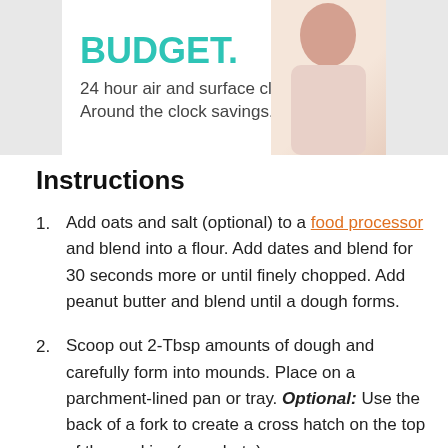[Figure (photo): Advertisement banner showing 'BUDGET.' in teal bold text with tagline '24 hour air and surface cleaning. Around the clock savings.' with a person image on the right side]
Instructions
Add oats and salt (optional) to a food processor and blend into a flour. Add dates and blend for 30 seconds more or until finely chopped. Add peanut butter and blend until a dough forms.
Scoop out 2-Tbsp amounts of dough and carefully form into mounds. Place on a parchment-lined pan or tray. Optional: Use the back of a fork to create a cross hatch on the top of the cookies (see photo).
Eat... (partially obscured by ad overlay) ...optional) by... ...until...